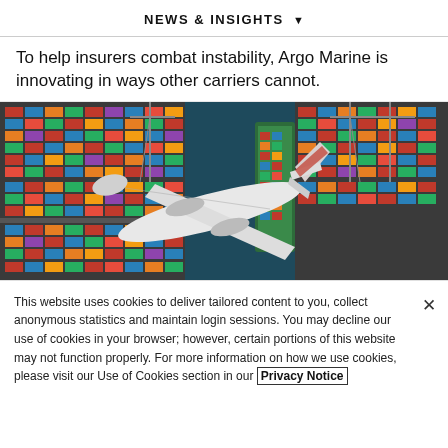NEWS & INSIGHTS ▼
To help insurers combat instability, Argo Marine is innovating in ways other carriers cannot.
[Figure (photo): Aerial view of a cargo port with colorful shipping containers and a commercial airplane flying overhead over the waterway between two container terminals.]
This website uses cookies to deliver tailored content to you, collect anonymous statistics and maintain login sessions. You may decline our use of cookies in your browser; however, certain portions of this website may not function properly. For more information on how we use cookies, please visit our Use of Cookies section in our Privacy Notice